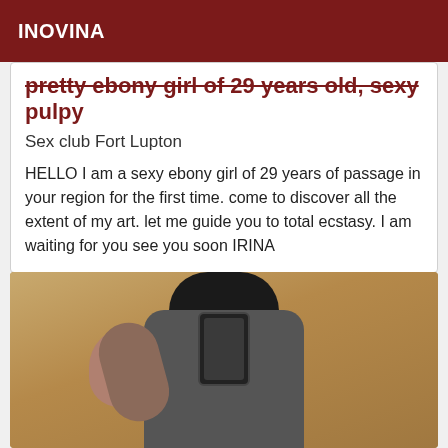INOVINA
pretty ebony girl of 29 years old, sexy pulpy
Sex club Fort Lupton
HELLO I am a sexy ebony girl of 29 years of passage in your region for the first time. come to discover all the extent of my art. let me guide you to total ecstasy. I am waiting for you see you soon IRINA
[Figure (photo): Mirror selfie photo of a woman holding a phone, wearing a dark grey top, with dark hair, against a tan/brown wall background.]